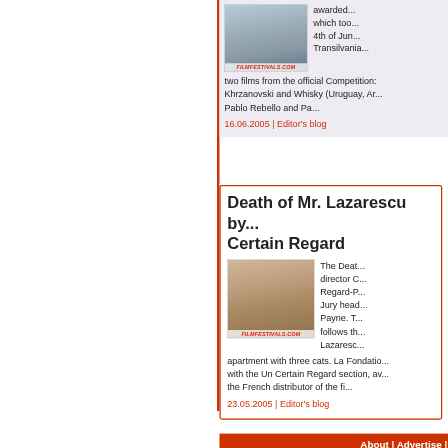awarded... which too... 4th of Jun... Transilvania... two films from the official Competition: Khrzanovski and Whisky (Uruguay, Ar... Pablo Rebello and Pa...
16.06.2005 | Editor's blog
Death of Mr. Lazarescu by... Certain Regard
[Figure (photo): Portrait photo of a person with glasses outdoors, watermarked with FILMFESTIVALS.COM]
The Deat... director C... Regard-P... Jury head... Payne. T... follows th... Lazaresc... apartment with three cats. La Fondatio... with the Un Certain Regard section, av... the French distributor of the fi...
23.05.2005 | Editor's blog
About | Advertise |